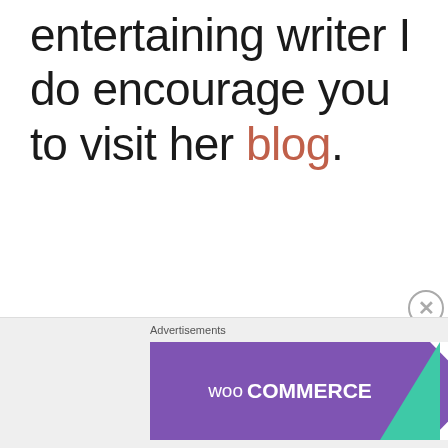entertaining writer I do encourage you to visit her blog.
Today in part 2 we will learn about Ellen the Editor, her advice
[Figure (screenshot): WooCommerce advertisement banner: purple logo with arrow, text 'How to start selling subscriptions online', decorative orange and blue shapes on right]